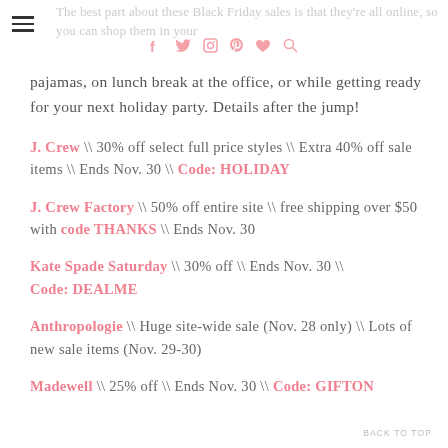The best part about these Black Friday sales is that they're all online, so you can shop them in your pajamas, on lunch break at the office, or while getting ready for your next holiday party. Details after the jump!
pajamas, on lunch break at the office, or while getting ready for your next holiday party. Details after the jump!
J. Crew \ 30% off select full price styles \ Extra 40% off sale items \ Ends Nov. 30 \ Code: HOLIDAY
J. Crew Factory \ 50% off entire site \ free shipping over $50 with code THANKS \ Ends Nov. 30
Kate Spade Saturday \ 30% off \ Ends Nov. 30 \ Code: DEALME
Anthropologie \ Huge site-wide sale (Nov. 28 only) \ Lots of new sale items (Nov. 29-30)
Madewell \ 25% off \ Ends Nov. 30 \ Code: GIFTON
BACK TO TOP